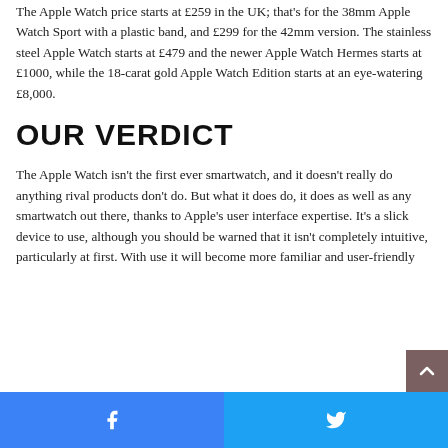The Apple Watch price starts at £259 in the UK; that's for the 38mm Apple Watch Sport with a plastic band, and £299 for the 42mm version. The stainless steel Apple Watch starts at £479 and the newer Apple Watch Hermes starts at £1000, while the 18-carat gold Apple Watch Edition starts at an eye-watering £8,000.
OUR VERDICT
The Apple Watch isn't the first ever smartwatch, and it doesn't really do anything rival products don't do. But what it does do, it does as well as any smartwatch out there, thanks to Apple's user interface expertise. It's a slick device to use, although you should be warned that it isn't completely intuitive, particularly at first. With use it will become more familiar and user-friendly